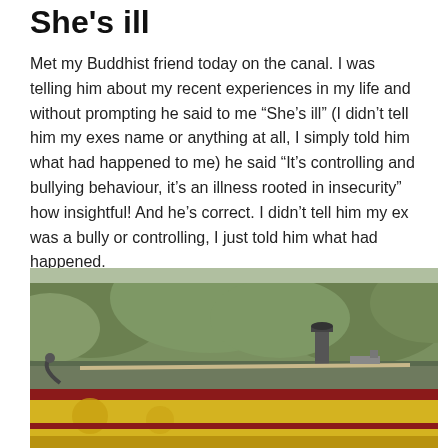She's ill
Met my Buddhist friend today on the canal. I was telling him about my recent experiences in my life and without prompting he said to me “She’s ill” (I didn’t tell him my exes name or anything at all, I simply told him what had happened to me) he said “It’s controlling and bullying behaviour, it’s an illness rooted in insecurity” how insightful! And he’s correct. I didn’t tell him my ex was a bully or controlling, I just told him what had happened.
[Figure (photo): A narrow boat (canal boat) with yellow and red/maroon paintwork moored on a canal, with green trees/vegetation in the background. The top of the boat including a chimney and various fittings are visible.]